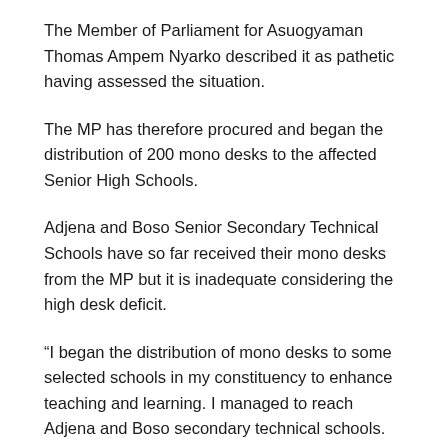The Member of Parliament for Asuogyaman Thomas Ampem Nyarko described it as pathetic having assessed the situation.
The MP has therefore procured and began the distribution of 200 mono desks to the affected Senior High Schools.
Adjena and Boso Senior Secondary Technical Schools have so far received their mono desks from the MP but it is inadequate considering the high desk deficit.
“I began the distribution of mono desks to some selected schools in my constituency to enhance teaching and learning. I managed to reach Adjena and Boso secondary technical schools. The furniture deficit is pathetic. Let’s all do our bit to help ease the pressure ” the MP said.